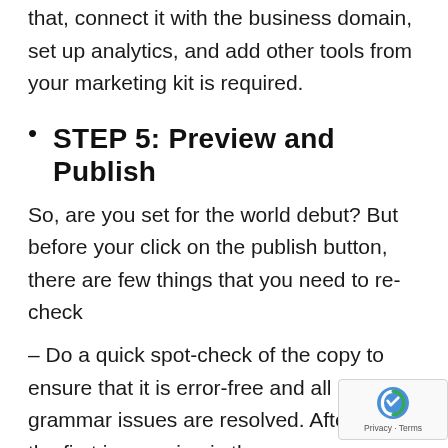that, connect it with the business domain, set up analytics, and add other tools from your marketing kit is required.
STEP 5: Preview and Publish
So, are you set for the world debut? But before your click on the publish button, there are few things that you need to re-check
– Do a quick spot-check of the copy to ensure that it is error-free and all grammar issues are resolved. After all, the first impression is the last.